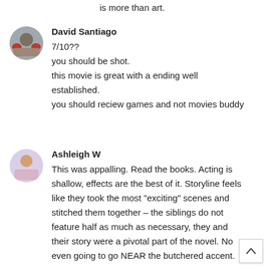is more than art.
David Santiago
7/10??
you should be shot.
this movie is great with a ending well established.
you should reciew games and not movies buddy
Ashleigh W
This was appalling. Read the books. Acting is shallow, effects are the best of it. Storyline feels like they took the most "exciting" scenes and stitched them together – the siblings do not feature half as much as necessary, they and their story were a pivotal part of the novel. Not even going to go NEAR the butchered accent.